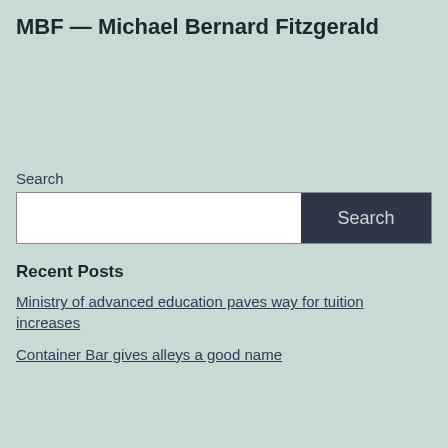MBF — Michael Bernard Fitzgerald
Search
Recent Posts
Ministry of advanced education paves way for tuition increases
Container Bar gives alleys a good name